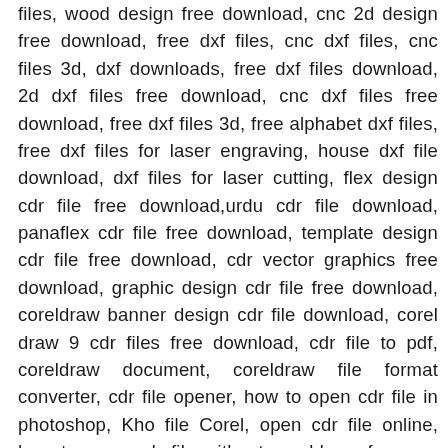files, wood design free download, cnc 2d design free download, free dxf files, cnc dxf files, cnc files 3d, dxf downloads, free dxf files download, 2d dxf files free download, cnc dxf files free download, free dxf files 3d, free alphabet dxf files, free dxf files for laser engraving, house dxf file download, dxf files for laser cutting, flex design cdr file free download,urdu cdr file download, panaflex cdr file free download, template design cdr file free download, cdr vector graphics free download, graphic design cdr file free download, coreldraw banner design cdr file download, corel draw 9 cdr files free download, cdr file to pdf, coreldraw document, coreldraw file format converter, cdr file opener, how to open cdr file in photoshop, Kho file Corel, open cdr file online, how to open cdr file without coreldraw, free cnc project files, free cnc router files for wood, 3d files for cnc router, free gcode files for cnc router, svg files for cnc router, free dxf files for cnc router, cnc router dxf files for sale, 3d router files, Download file 3d CNC, free 3d cnc files, 3d model to cnc, free 3d carving files, 3d cnc files for sale, stl